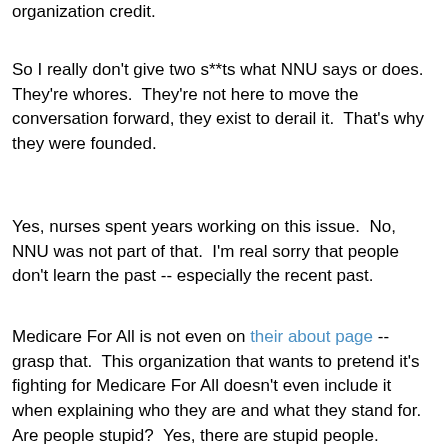organization credit.
So I really don't give two s**ts what NNU says or does.  They're whores.  They're not here to move the conversation forward, they exist to derail it.  That's why they were founded.
Yes, nurses spent years working on this issue.  No, NNU was not part of that.  I'm real sorry that people don't learn the past -- especially the recent past.
Medicare For All is not even on their about page -- grasp that.  This organization that wants to pretend it's fighting for Medicare For All doesn't even include it when explaining who they are and what they stand for.  Are people stupid?  Yes, there are stupid people.